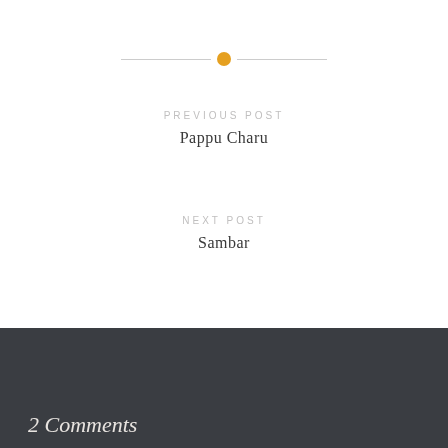[Figure (other): Horizontal divider with centered orange/gold dot]
PREVIOUS POST
Pappu Charu
NEXT POST
Sambar
2 Comments